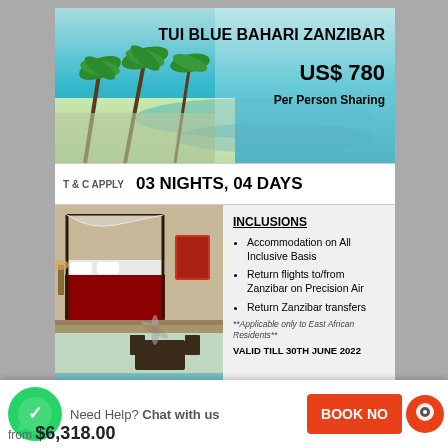[Figure (photo): Aerial/beach view of TUI Blue Bahari Zanzibar resort with palm trees and turquoise ocean]
TUI BLUE BAHARI ZANZIBAR
US$ 780
Per Person Sharing
T & C APPLY
03 NIGHTS, 04 DAYS
[Figure (photo): Hotel room with four-poster canopy bed and tropical decor; outdoor seating area with ocean view]
INCLUSIONS
Accommodation on All Inclusive Basis
Return flights to/from Zanzibar on Precision Air
Return Zanzibar transfers
**Applicable only to East African Residents**
VALID TILL 30TH JUNE 2022
Info@africareboundsafaris.com | www.africareboundsafaris.com | tel: 07...2
Need Help? Chat with us
from $6,318.00
BOOK NOW